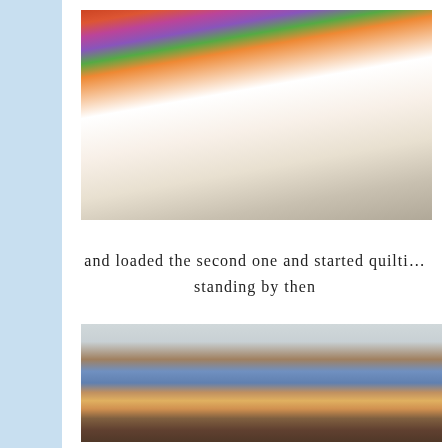[Figure (photo): A colorful patchwork quilt loaded on a quilting frame, showing orange, purple, green and floral fabrics, partially rolled, resting on a table with white batting visible underneath.]
and loaded the second one and started quilting standing by then
[Figure (photo): A stack of several folded quilts piled on a wooden table, showing various fabrics including blue, brown, floral patchwork, teal, and dark burgundy/maroon colors.]